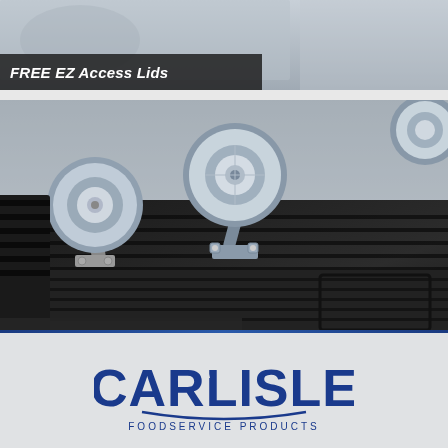[Figure (photo): Top portion of a product photo showing a storage container or dolly with metallic/grey tones, partially cropped]
FREE EZ Access Lids
[Figure (photo): Close-up photo of a black plastic dolly/cart base with swivel caster wheels (grey rubber wheels with silver zinc hardware) attached to a dark ribbed plastic frame]
Replacement parts
[Figure (logo): Carlisle Foodservice Products logo — blue stylized text 'CARLISLE' with 'A' having a distinctive notch, and 'FOODSERVICE PRODUCTS' in smaller text below]